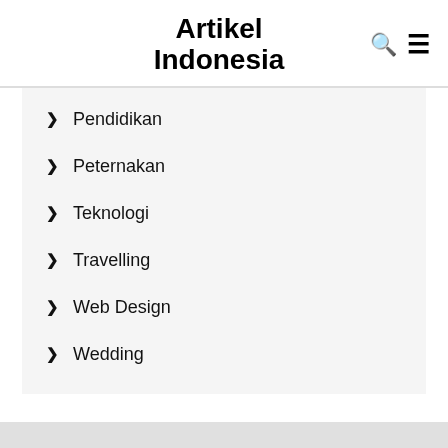Artikel Indonesia
Pendidikan
Peternakan
Teknologi
Travelling
Web Design
Wedding